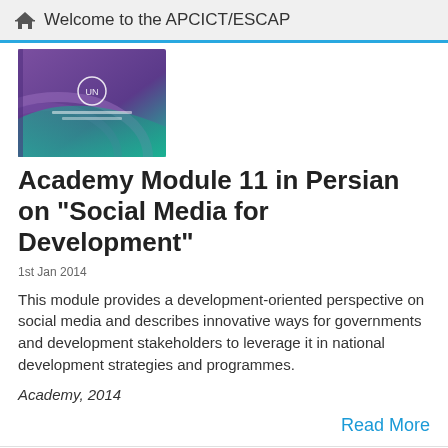Welcome to the APCICT/ESCAP
[Figure (illustration): Book cover with purple and teal design featuring UN logo for Academy Module 11]
Academy Module 11 in Persian on "Social Media for Development"
1st Jan 2014
This module provides a development-oriented perspective on social media and describes innovative ways for governments and development stakeholders to leverage it in national development strategies and programmes.
Academy, 2014
Read More
[Figure (illustration): Book cover for The Primer Series on ICTD for Youth with orange/yellow design]